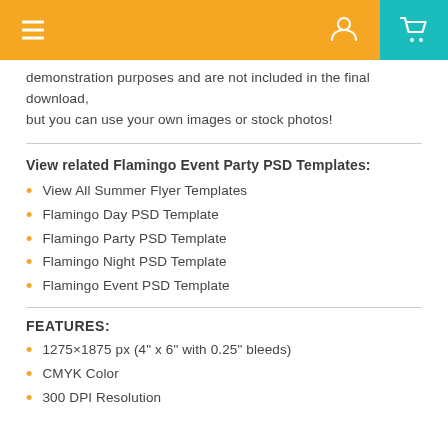Navigation header with hamburger menu, user icon, and cart icon
demonstration purposes and are not included in the final download, but you can use your own images or stock photos!
View related Flamingo Event Party PSD Templates:
View All Summer Flyer Templates
Flamingo Day PSD Template
Flamingo Party PSD Template
Flamingo Night PSD Template
Flamingo Event PSD Template
FEATURES:
1275×1875 px (4" x 6" with 0.25" bleeds)
CMYK Color
300 DPI Resolution